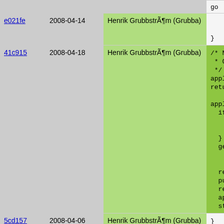| hash | date | author | code |
| --- | --- | --- | --- |
| e021fe | 2008-04-14 | Henrik GrubbstrÃ¶m (Grubba) | }
    }
} |
| 41c915 | 2008-04-18 | Henrik GrubbstrÃ¶m (Grubba) | /* Nothi
 * Call
 */
apply_ex
return;

apply_han
  if (args
    f_spri
    args =
  }
  get_all_


  ref_push
  push_int
  ref_push
  apply_lo
  stack_po |
| 5cd157 | 2008-04-06 | Henrik GrubbstrÃ¶m (Grubba) | } |
| 41c915 | 2008-04-18 | Henrik GrubbstrÃ¶m (Grubba) | /*! @decl
 *!
 *! |